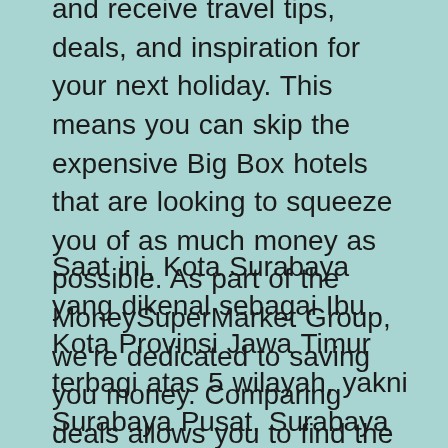and receive travel tips, deals, and inspiration for your next holiday. This means you can skip the expensive Big Box hotels that are looking to squeeze you of as much money as possible. As part of the MoneySuperMarket Group, we're dedicated to saving you money. Comparing deals allows you to find the best value flight option for your needs, from economy seats with low-cost airlines to business and first-class travel on luxury aircraft.
Saat ini, Kota Surabaya yang dikenal sebagai Ibu Kota Provinsi Jawa Timur terbagi atas 5 wilayah, yakni Surabaya Pusat, Surabaya Timur, Surabaya Barat, Surabaya Selatan, serta Surabaya Utara. Di bagian barat, Surabaya berbatasan dengan Kabupaten Gresik,di bagian selatan ada Kabupaten Sidoarjo. Sementara itu, di utara dan timur